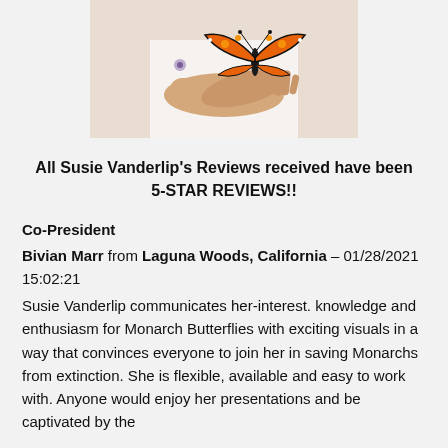[Figure (photo): A person holding a Monarch butterfly on their outstretched palm, wearing a white top with floral design.]
All Susie Vanderlip's Reviews received have been 5-STAR REVIEWS!!
Co-President
Bivian Marr from Laguna Woods, California – 01/28/2021 15:02:21
Susie Vanderlip communicates her-interest. knowledge and enthusiasm for Monarch Butterflies with exciting visuals in a way that convinces everyone to join her in saving Monarchs from extinction. She is flexible, available and easy to work with. Anyone would enjoy her presentations and be captivated by the